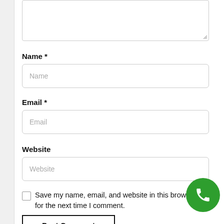[Figure (screenshot): Textarea input box (partially visible at top of page)]
Name *
[Figure (screenshot): Name input field with placeholder text 'Name']
Email *
[Figure (screenshot): Email input field with placeholder text 'Email']
Website
[Figure (screenshot): Website input field with placeholder text 'Website']
Save my name, email, and website in this browser for the next time I comment.
Post Comment
[Figure (illustration): Green circular phone/call button icon in bottom right corner]